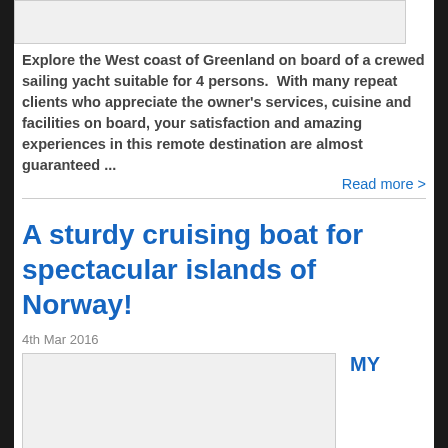[Figure (photo): Placeholder image at top of page, light grey rectangle]
Explore the West coast of Greenland on board of a crewed sailing yacht suitable for 4 persons. With many repeat clients who appreciate the owner's services, cuisine and facilities on board, your satisfaction and amazing experiences in this remote destination are almost guaranteed ...
Read more >
A sturdy cruising boat for spectacular islands of Norway!
4th Mar 2016
[Figure (photo): Placeholder image of boat/yacht, light grey rectangle]
MY
INEXCESS is the largest charter yacht based in Oslo.